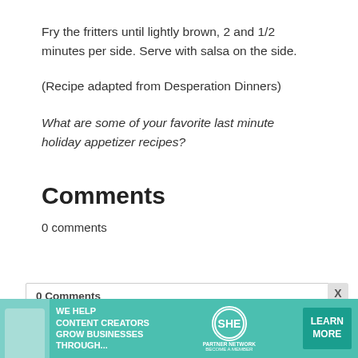Fry the fritters until lightly brown, 2 and 1/2 minutes per side. Serve with salsa on the side.
(Recipe adapted from Desperation Dinners)
What are some of your favorite last minute holiday appetizer recipes?
Comments
0 comments
0 Comments
[Figure (screenshot): Disqus comment widget showing '0 Comments' heading and 'Sort by Newest' dropdown, with an X close button]
[Figure (infographic): SHE Partner Network advertisement banner with teal background: 'We Help Content Creators Grow Businesses Through...' with SHE logo and 'Learn More' button]